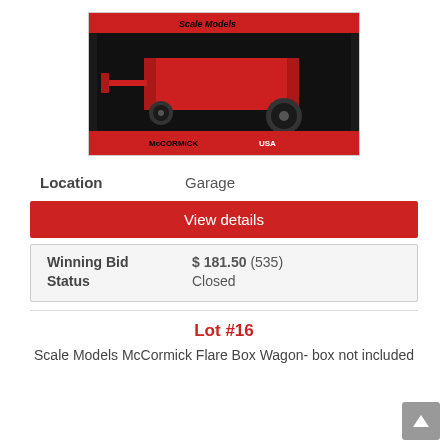[Figure (photo): Photo of a Scale Models McCormick Flare Box Wagon toy in red, displayed in a black product box on a white background.]
Location    Garage
View details
| Winning Bid | $ 181.50 (535) |
| Status | Closed |
Lot #16
Scale Models McCormick Flare Box Wagon- box not included